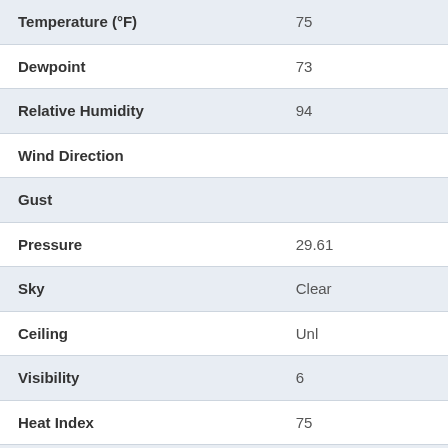| Parameter | Value |
| --- | --- |
| Temperature (°F) | 75 |
| Dewpoint | 73 |
| Relative Humidity | 94 |
| Wind Direction |  |
| Gust |  |
| Pressure | 29.61 |
| Sky | Clear |
| Ceiling | Unl |
| Visibility | 6 |
| Heat Index | 75 |
| Wind Chill | 75 |
| Wind Speed | 0 |